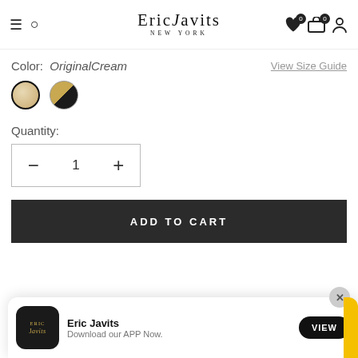Eric Javits New York
Color: OriginalCream
View Size Guide
[Figure (illustration): Two color swatches: a cream/tan circle (selected, with dark border) and a black-and-gold half-circle swatch]
Quantity:
[Figure (other): Quantity selector box showing minus button, number 1, and plus button]
ADD TO CART
[Figure (screenshot): App download banner showing Eric Javits app icon, text 'Eric Javits / Download our APP Now.' and a VIEW button, with an X close button]